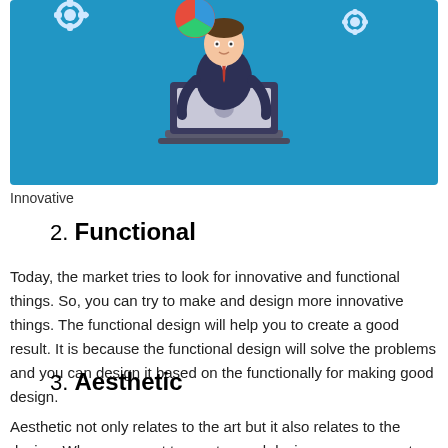[Figure (illustration): Flat style illustration of a person in a dark suit sitting behind a laptop, with gear, pie chart, and hexagon icons floating above on a blue background. Represents innovation/technology concept.]
Innovative
2. Functional
Today, the market tries to look for innovative and functional things. So, you can try to make and design more innovative things. The functional design will help you to create a good result. It is because the functional design will solve the problems and you can design it based on the functionally for making good design.
3. Aesthetic
Aesthetic not only relates to the art but it also relates to the design. When you want to create good design, you can create an